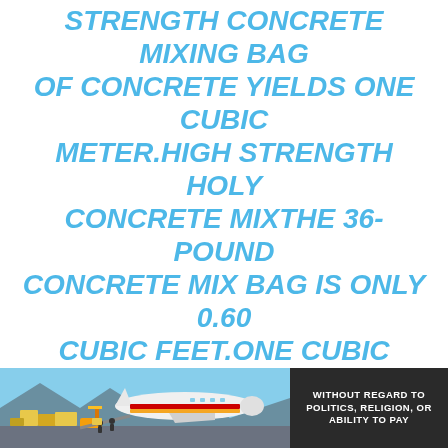STRENGTH CONCRETE MIXING BAG OF CONCRETE YIELDS ONE CUBIC METER.HIGH STRENGTH HOLY CONCRETE MIXTHE 36-POUND CONCRETE MIX BAG IS ONLY 0.60 CUBIC FEET.ONE CUBIC METER IS EQUAL TO 27 CUBIC FE
You May Like:  Patio Cover Lighting
Preparing The Soil For Concrete
The soil you build your concrete pad on needs to be compact and well drained to ensure the best concrete slab results.
[Figure (photo): Advertisement banner showing cargo being loaded onto a Southwest Airlines plane, with a dark overlay badge reading 'WITHOUT REGARD TO POLITICS, RELIGION, OR ABILITY TO PAY']